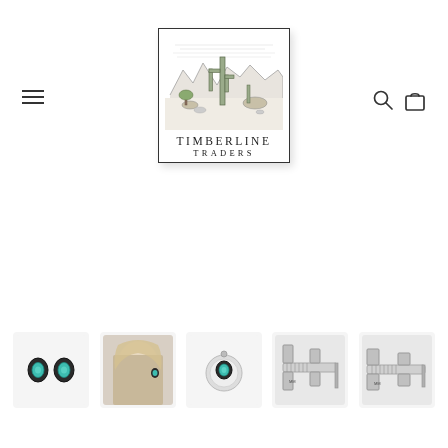[Figure (logo): Timberline Traders logo: a framed pen-and-ink illustration of a desert scene with saguaro cactus and mountains, with text TIMBERLINE TRADERS below]
[Figure (other): Hamburger/menu icon (three horizontal lines) on the left side of the header]
[Figure (other): Search (magnifying glass) and shopping bag icons on the right side of the header]
[Figure (photo): Five product thumbnail images in a row at the bottom: (1) pair of small turquoise and silver stud earrings on white background, (2) photo of a person wearing an earring with blonde hair, (3) single earring stud with turquoise stone from above on white background, (4) earring being measured with calipers, (5) another caliper measurement of the earring]